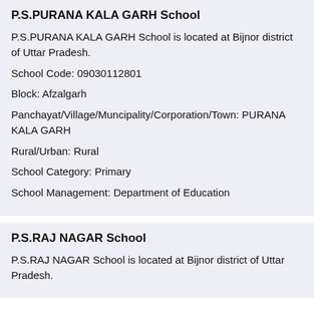P.S.PURANA KALA GARH School
P.S.PURANA KALA GARH School is located at Bijnor district of Uttar Pradesh.
School Code: 09030112801
Block: Afzalgarh
Panchayat/Village/Muncipality/Corporation/Town: PURANA KALA GARH
Rural/Urban: Rural
School Category: Primary
School Management: Department of Education
P.S.RAJ NAGAR School
P.S.RAJ NAGAR School is located at Bijnor district of Uttar Pradesh.